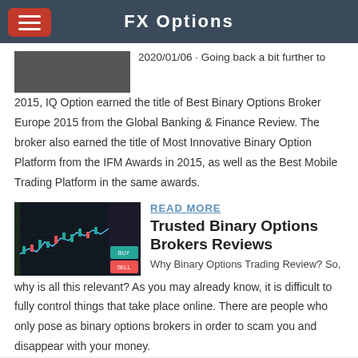FX Options
2020/01/06 · Going back a bit further to 2015, IQ Option earned the title of Best Binary Options Broker Europe 2015 from the Global Banking & Finance Review. The broker also earned the title of Most Innovative Binary Option Platform from the IFM Awards in 2015, as well as the Best Mobile Trading Platform in the same awards.
[Figure (screenshot): Trading platform screenshot showing candlestick chart with green and red buy/sell buttons]
READ MORE
Trusted Binary Options Brokers Reviews
Why Binary Options Trading Review? So, why is all this relevant? As you may already know, it is difficult to fully control things that take place online. There are people who only pose as binary options brokers in order to scam you and disappear with your money.